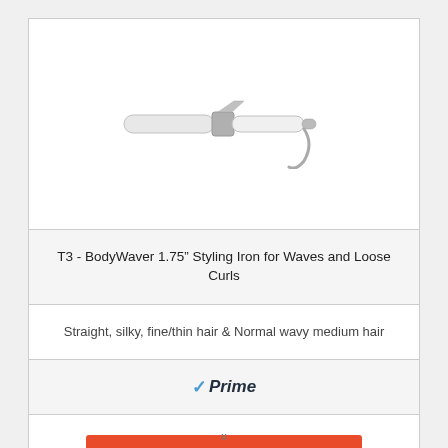[Figure (photo): T3 BodyWaver 1.75 inch curling iron / styling iron - white and chrome product photo on white background]
T3 - BodyWaver 1.75” Styling Iron for Waves and Loose Curls
Straight, silky, fine/thin hair & Normal wavy medium hair
[Figure (logo): Amazon Prime badge with blue checkmark and italic Prime text]
Check Price on Amazon